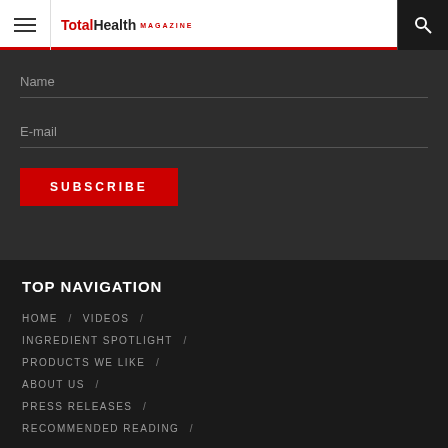Total Health MAGAZINE
[Figure (screenshot): Website navigation header with hamburger menu icon, Total Health Magazine logo, and search icon on dark/white background with red bottom border]
Name
E-mail
SUBSCRIBE
TOP NAVIGATION
HOME /
VIDEOS /
INGREDIENT SPOTLIGHT /
PRODUCTS WE LIKE /
ABOUT US /
PRESS RELEASES /
RECOMMENDED READING /